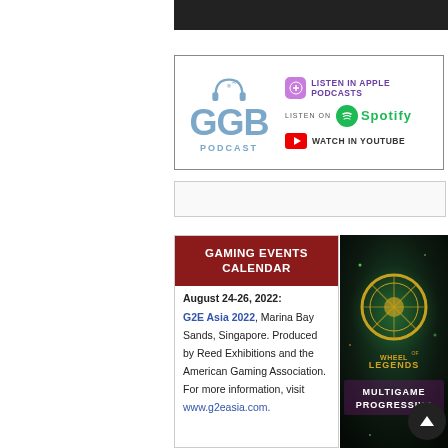[Figure (other): Dark top bar image strip]
[Figure (other): GGB Podcast advertisement with Apple Podcasts, Spotify, and YouTube listen/watch options]
[Figure (other): Advertisement banner bar]
GAMING EVENTS CALENDAR
August 24-26, 2022: G2E Asia 2022, Marina Bay Sands, Singapore. Produced by Reed Exhibitions and the American Gaming Association. For more information, visit www.g2easia.com.
[Figure (illustration): Wheel of Legends Multigame Progressive game advertisement]